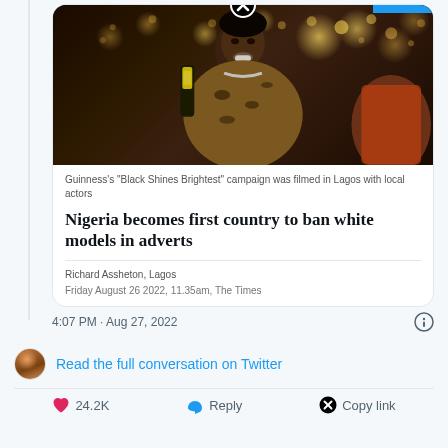[Figure (screenshot): Guinness 'Black Shines Brightest' campaign photo showing a woman holding a Guinness bottle at a party with bokeh lights in background]
Guinness's "Black Shines Brightest" campaign was filmed in Lagos with local actors
Nigeria becomes first country to ban white models in adverts
Richard Assheton, Lagos
Friday August 26 2022, 11.35am, The Times
4:07 PM · Aug 27, 2022
Read the full conversation on Twitter
24.2K
Reply
Copy link